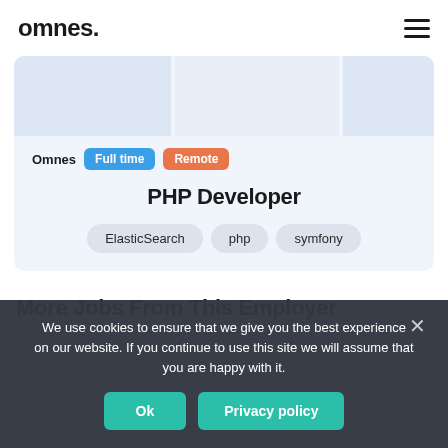omnes.
[Figure (screenshot): Job listing card with light blue background showing company name Omnes, Full time and Remote badges, PHP Developer title, and skill tags: ElasticSearch, php, symfony]
More Jobs From This Employer
We use cookies to ensure that we give you the best experience on our website. If you continue to use this site we will assume that you are happy with it.